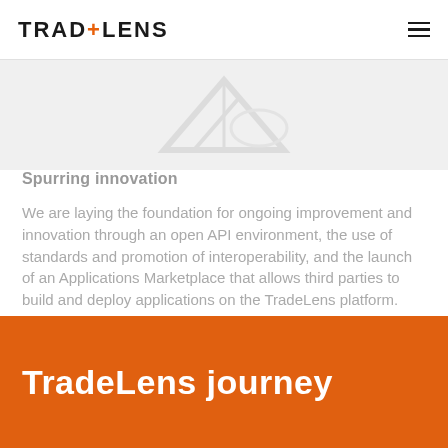TRADELENS
[Figure (illustration): Faded watermark-style illustration of a cargo ship or document icon on light gray background]
Spurring innovation
We are laying the foundation for ongoing improvement and innovation through an open API environment, the use of standards and promotion of interoperability, and the launch of an Applications Marketplace that allows third parties to build and deploy applications on the TradeLens platform.
TradeLens journey